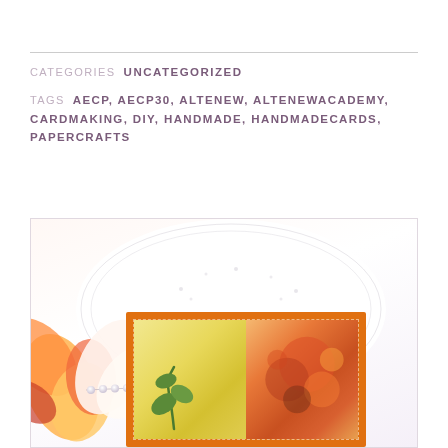CATEGORIES  UNCATEGORIZED
TAGS  AECP, AECP30, ALTENEW, ALTENEWACADEMY, CARDMAKING, DIY, HANDMADE, HANDMADECARDS, PAPERCRAFTS
[Figure (photo): Photo of a handmade card with an orange border, placed on a white textured doily/surface, with flowers/petals visible on the left and pearl beads. The card shows two panels: left with a yellow-green background and a leaf/branch motif, right with an orange floral watercolor design.]